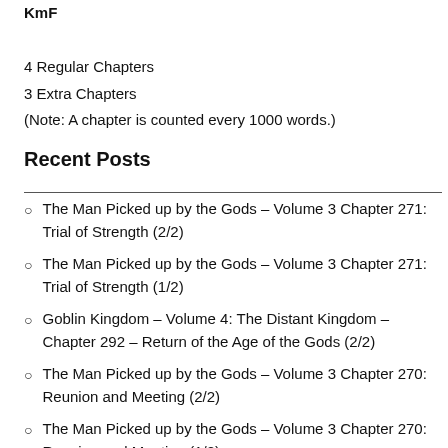KmF
4 Regular Chapters
3 Extra Chapters
(Note: A chapter is counted every 1000 words.)
Recent Posts
The Man Picked up by the Gods – Volume 3 Chapter 271: Trial of Strength (2/2)
The Man Picked up by the Gods – Volume 3 Chapter 271: Trial of Strength (1/2)
Goblin Kingdom – Volume 4: The Distant Kingdom – Chapter 292 – Return of the Age of the Gods (2/2)
The Man Picked up by the Gods – Volume 3 Chapter 270: Reunion and Meeting (2/2)
The Man Picked up by the Gods – Volume 3 Chapter 270: Reunion and Meeting (1/2)